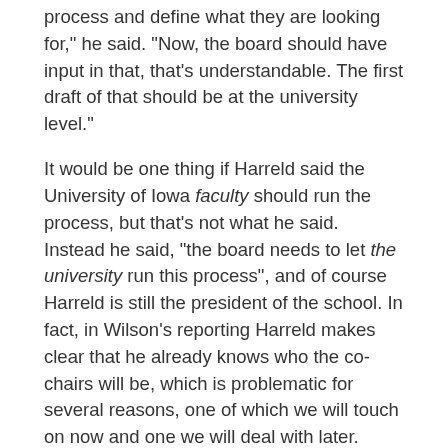process and define what they are looking for," he said. "Now, the board should have input in that, that's understandable. The first draft of that should be at the university level."
It would be one thing if Harreld said the University of Iowa faculty should run the process, but that's not what he said. Instead he said, "the board needs to let the university run this process", and of course Harreld is still the president of the school. In fact, in Wilson's reporting Harreld makes clear that he already knows who the co-chairs will be, which is problematic for several reasons, one of which we will touch on now and one we will deal with later.
The fact that Harreld has known who the co-chairs of the search committee are since October 1st, at the latest, while the UI community and interested